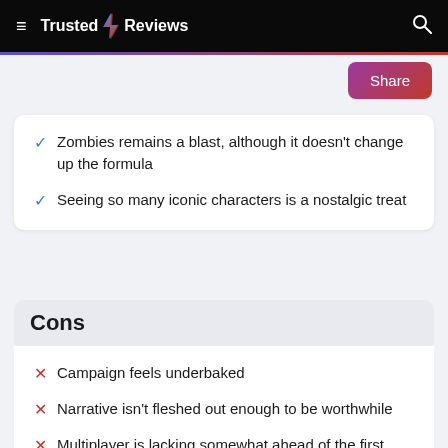Trusted Reviews
Zombies remains a blast, although it doesn't change up the formula
Seeing so many iconic characters is a nostalgic treat
Cons
Campaign feels underbaked
Narrative isn't fleshed out enough to be worthwhile
Multiplayer is lacking somewhat ahead of the first season